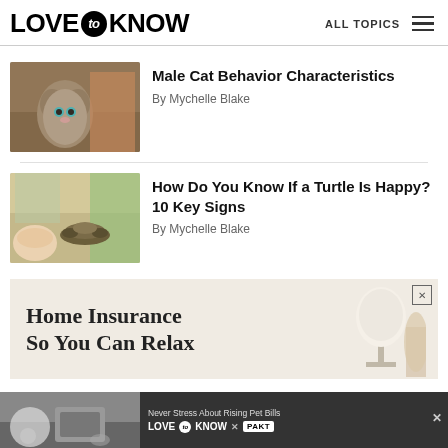LOVE to KNOW | ALL TOPICS
Male Cat Behavior Characteristics
By Mychelle Blake
How Do You Know If a Turtle Is Happy? 10 Key Signs
By Mychelle Blake
[Figure (photo): Advertisement banner: Home Insurance So You Can Relax, with lamp image]
[Figure (photo): Bottom banner ad: Never Stress About Rising Pet Bills, LoveToKnow x PAKT, with person and dog image]